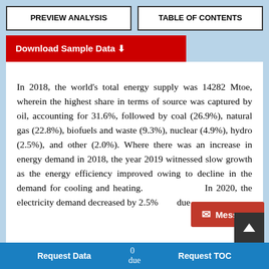PREVIEW ANALYSIS | TABLE OF CONTENTS
Download Sample Data
In 2018, the world's total energy supply was 14282 Mtoe, wherein the highest share in terms of source was captured by oil, accounting for 31.6%, followed by coal (26.9%), natural gas (22.8%), biofuels and waste (9.3%), nuclear (4.9%), hydro (2.5%), and other (2.0%). Where there was an increase in energy demand in 2018, the year 2019 witnessed slow growth as the energy efficiency improved owing to decline in the demand for cooling and heating. In 2020, the electricity demand decreased by 2.5% due in
Request Data | Request TOC